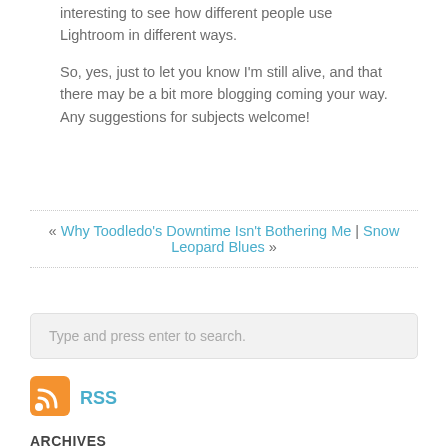interesting to see how different people use Lightroom in different ways.
So, yes, just to let you know I'm still alive, and that there may be a bit more blogging coming your way. Any suggestions for subjects welcome!
« Why Toodledo's Downtime Isn't Bothering Me | Snow Leopard Blues »
Type and press enter to search.
[Figure (logo): RSS feed icon - orange square with white WiFi-style signal waves]
RSS
ARCHIVES